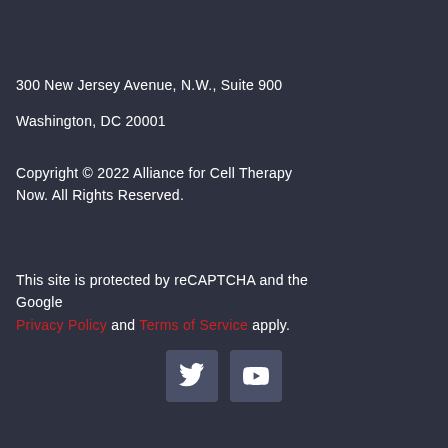300 New Jersey Avenue, N.W., Suite 900
Washington, DC 20001
Copyright © 2022 Alliance for Cell Therapy Now. All Rights Reserved.
This site is protected by reCAPTCHA and the Google Privacy Policy and Terms of Service apply.
[Figure (illustration): Twitter and YouTube social media icon buttons]